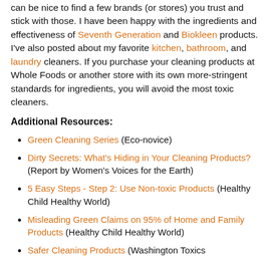can be nice to find a few brands (or stores) you trust and stick with those. I have been happy with the ingredients and effectiveness of Seventh Generation and Biokleen products. I've also posted about my favorite kitchen, bathroom, and laundry cleaners. If you purchase your cleaning products at Whole Foods or another store with its own more-stringent standards for ingredients, you will avoid the most toxic cleaners.
Additional Resources:
Green Cleaning Series (Eco-novice)
Dirty Secrets: What's Hiding in Your Cleaning Products? (Report by Women's Voices for the Earth)
5 Easy Steps - Step 2: Use Non-toxic Products (Healthy Child Healthy World)
Misleading Green Claims on 95% of Home and Family Products (Healthy Child Healthy World)
Safer Cleaning Products (Washington Toxics Coalition)